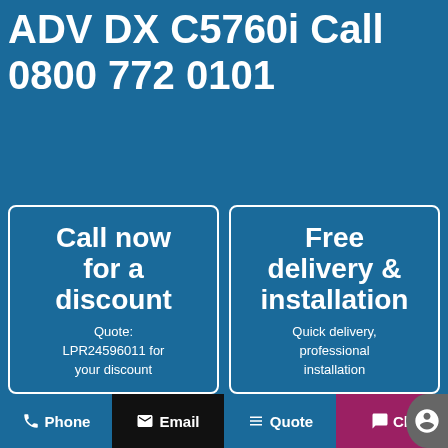ADV DX C5760i Call 0800 772 0101
Call now for a discount
Quote: LPR24596011 for your discount
Free delivery & installation
Quick delivery, professional installation
Phone
Email
Quote
Ch